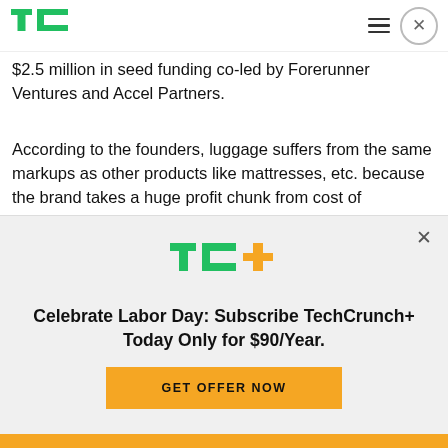TechCrunch header with logo, menu, and close button
$2.5 million in seed funding co-led by Forerunner Ventures and Accel Partners.
According to the founders, luggage suffers from the same markups as other products like mattresses, etc. because the brand takes a huge profit chunk from cost of manufacturing, and then retailers take a similarly large markup. At the end of the day, high
[Figure (screenshot): TechCrunch+ subscription paywall overlay with TC+ logo, headline 'Celebrate Labor Day: Subscribe TechCrunch+ Today Only for $90/Year.' and a yellow GET OFFER NOW button]
Yellow strip footer